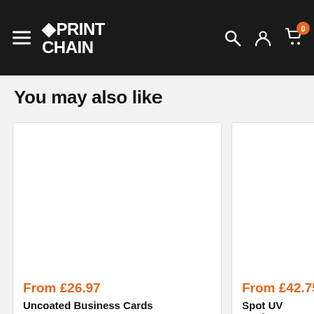Print Chain — navigation header with logo, search, account, and cart icons
You may also like
[Figure (other): Product card image placeholder (white/blank) for Uncoated Business Cards]
From £26.97
Uncoated Business Cards
[Figure (other): Product card image placeholder (white/blank) for Spot UV Business Cards]
From £42.75
Spot UV Business C…